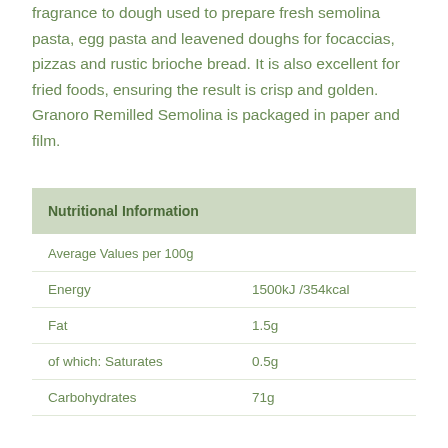fragrance to dough used to prepare fresh semolina pasta, egg pasta and leavened doughs for focaccias, pizzas and rustic brioche bread. It is also excellent for fried foods, ensuring the result is crisp and golden. Granoro Remilled Semolina is packaged in paper and film.
|  |  |
| --- | --- |
| Nutritional Information |  |
| Average Values per 100g |  |
| Energy | 1500kJ /354kcal |
| Fat | 1.5g |
| of which: Saturates | 0.5g |
| Carbohydrates | 71g |